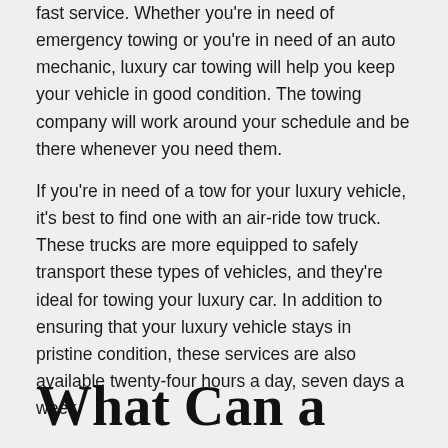fast service. Whether you're in need of emergency towing or you're in need of an auto mechanic, luxury car towing will help you keep your vehicle in good condition. The towing company will work around your schedule and be there whenever you need them.
If you're in need of a tow for your luxury vehicle, it's best to find one with an air-ride tow truck. These trucks are more equipped to safely transport these types of vehicles, and they're ideal for towing your luxury car. In addition to ensuring that your luxury vehicle stays in pristine condition, these services are also available twenty-four hours a day, seven days a week.
What Can a